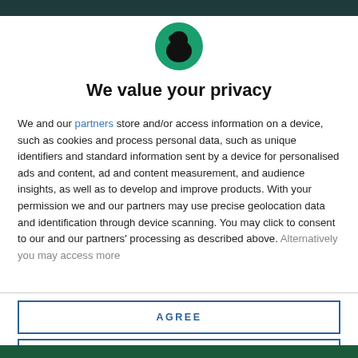[Figure (logo): Circular green logo with a black silhouette of a person wearing a hat, resembling a detective or pirate figure]
We value your privacy
We and our partners store and/or access information on a device, such as cookies and process personal data, such as unique identifiers and standard information sent by a device for personalised ads and content, ad and content measurement, and audience insights, as well as to develop and improve products. With your permission we and our partners may use precise geolocation data and identification through device scanning. You may click to consent to our and our partners' processing as described above. Alternatively you may access more
AGREE
MORE OPTIONS